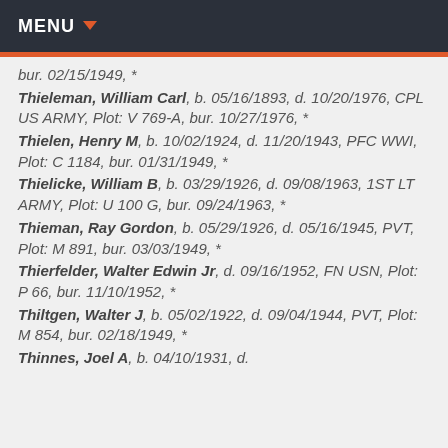MENU
bur. 02/15/1949, *
Thieleman, William Carl, b. 05/16/1893, d. 10/20/1976, CPL US ARMY, Plot: V 769-A, bur. 10/27/1976, *
Thielen, Henry M, b. 10/02/1924, d. 11/20/1943, PFC WWI, Plot: C 1184, bur. 01/31/1949, *
Thielicke, William B, b. 03/29/1926, d. 09/08/1963, 1ST LT ARMY, Plot: U 100 G, bur. 09/24/1963, *
Thieman, Ray Gordon, b. 05/29/1926, d. 05/16/1945, PVT, Plot: M 891, bur. 03/03/1949, *
Thierfelder, Walter Edwin Jr, d. 09/16/1952, FN USN, Plot: P 66, bur. 11/10/1952, *
Thiltgen, Walter J, b. 05/02/1922, d. 09/04/1944, PVT, Plot: M 854, bur. 02/18/1949, *
Thinnes, Joel A, b. 04/10/1931, d. [continues]